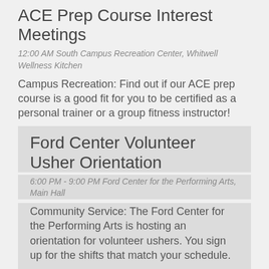ACE Prep Course Interest Meetings
12:00 AM South Campus Recreation Center, Whitwell Wellness Kitchen
Campus Recreation: Find out if our ACE prep course is a good fit for you to be certified as a personal trainer or a group fitness instructor!
Ford Center Volunteer Usher Orientation
6:00 PM - 9:00 PM Ford Center for the Performing Arts, Main Hall
Community Service: The Ford Center for the Performing Arts is hosting an orientation for volunteer ushers. You sign up for the shifts that match your schedule.
Tue.,  30 Aug.
ACE Prep Course Interest Meetings
12:00 AM South Campus Recreation Center, Whitwell Well...